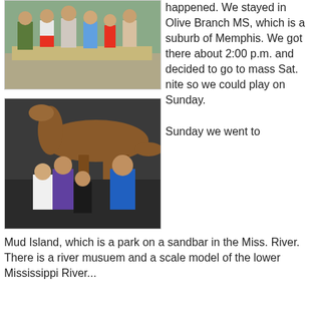[Figure (photo): Group of children posing near a stone structure outdoors]
[Figure (photo): Family group posing in front of a large dinosaur exhibit indoors]
happened. We stayed in Olive Branch MS, which is a suburb of Memphis. We got there about 2:00 p.m. and decided to go to mass Sat. nite so we could play on Sunday.

Sunday we went to Mud Island, which is a park on a sandbar in the Miss. River. There is a river musuem and a scale model of the lower Mississippi River...
Sunday we went to Mud Island, which is a park on a sandbar in the Miss. River. There is a river musuem and a scale model of the lower Mississippi River...